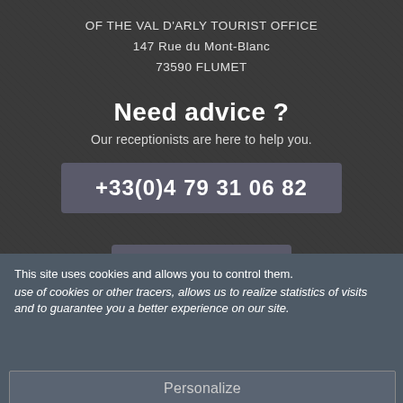OF THE VAL D'ARLY TOURIST OFFICE
147 Rue du Mont-Blanc
73590 FLUMET
Need advice ?
Our receptionists are here to help you.
+33(0)4 79 31 06 82
Write us
This site uses cookies and allows you to control them. use of cookies or other tracers, allows us to realize statistics of visits and to guarantee you a better experience on our site.
OK, accept everything
No, refuse all
Personalize